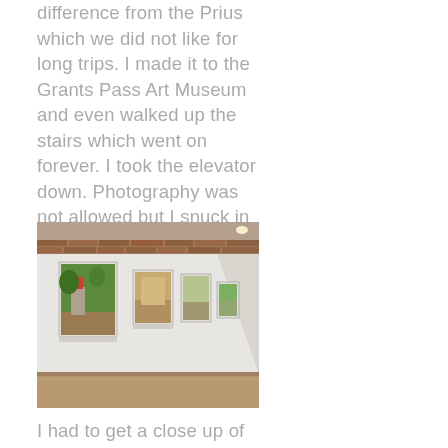difference from the Prius which we did not like for long trips. I made it to the Grants Pass Art Museum and even walked up the stairs which went on forever. I took the elevator down. Photography was not allowed but I snuck in a couple of long shots.
[Figure (photo): Interior of an art gallery showing paintings hung on a white wall, with exposed brick ceiling beam and wooden floor. Several landscape paintings are visible along the wall.]
I had to get a close up of Terry Grants Camas Prairie, which I love